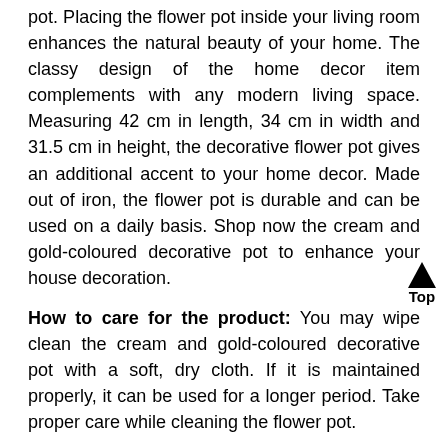pot. Placing the flower pot inside your living room enhances the natural beauty of your home. The classy design of the home decor item complements with any modern living space. Measuring 42 cm in length, 34 cm in width and 31.5 cm in height, the decorative flower pot gives an additional accent to your home decor. Made out of iron, the flower pot is durable and can be used on a daily basis. Shop now the cream and gold-coloured decorative pot to enhance your house decoration.
How to care for the product: You may wipe clean the cream and gold-coloured decorative pot with a soft, dry cloth. If it is maintained properly, it can be used for a longer period. Take proper care while cleaning the flower pot.
Why buy the product: Enhance the beauty of your garden area by planting flowers in the cream and gold-coloured decorative pot. It can be used both indoors and outdoors which makes it an ideal buy. Made from iron, it is durable and user-friendly. Moreover, the classy design of the flower pot makes it a perfect fit for any living space. Display your favourite flowers and plants in the most elegant way